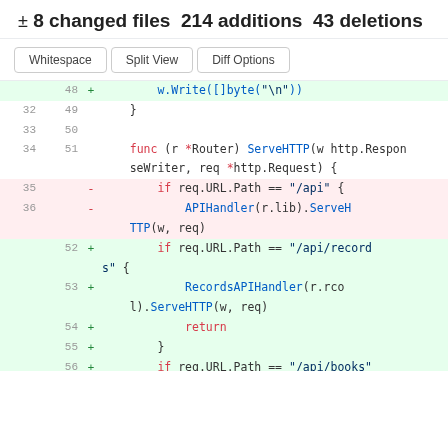± 8 changed files 214 additions 43 deletions
[Figure (screenshot): Code diff view with Whitespace, Split View, Diff Options buttons and diff lines 32-57]
Buttons: Whitespace | Split View | Diff Options
Diff lines showing additions (green) and deletions (red) with line numbers and code content